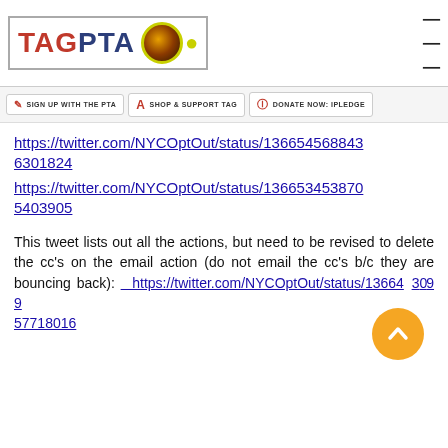TAG PTA
SIGN UP WITH THE PTA  SHOP & SUPPORT TAG  DONATE NOW: IPLEDGE
https://twitter.com/NYCOptOut/status/1366545688436301824
https://twitter.com/NYCOptOut/status/1366534538705403905
This tweet lists out all the actions, but need to be revised to delete the cc's on the email action (do not email the cc's b/c they are bouncing back): https://twitter.com/NYCOptOut/status/1366436999 57718016